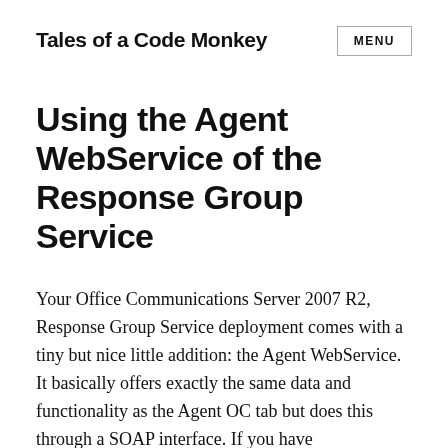Tales of a Code Monkey
Using the Agent WebService of the Response Group Service
Your Office Communications Server 2007 R2, Response Group Service deployment comes with a tiny but nice little addition: the Agent WebService. It basically offers exactly the same data and functionality as the Agent OC tab but does this through a SOAP interface. If you have